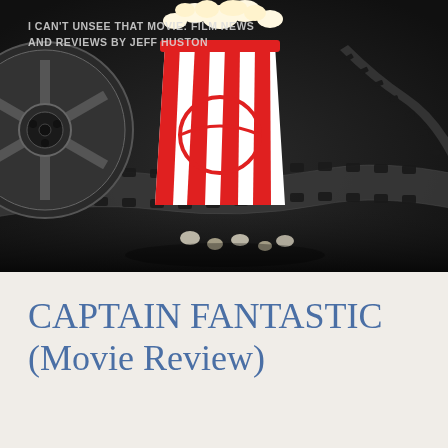I CAN'T UNSEE THAT MOVIE: FILM NEWS AND REVIEWS BY JEFF HUSTON
[Figure (illustration): Dark-background cinematic illustration showing a film reel on the left, a large red-and-white striped popcorn bucket in the center, and a film strip winding across the image with scattered popcorn pieces at the bottom.]
CAPTAIN FANTASTIC (Movie Review)